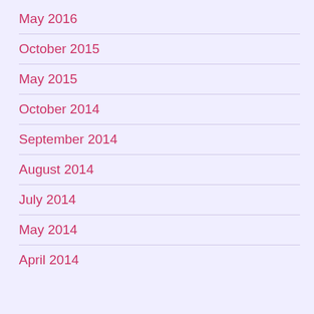May 2016
October 2015
May 2015
October 2014
September 2014
August 2014
July 2014
May 2014
April 2014